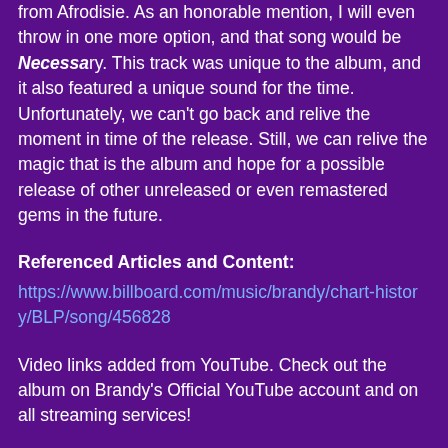from Afrodisie. As an honorable mention, I will even throw in one more option, and that song would be Necessa ry. This track was unique to the album, and it also featured a unique sound for the time. Unfortunately, we can't go back and relive the moment in time of the release. Still, we can relive the magic that is the album and hope for a possible release of other unreleased or even remastered gems in the future.
Referenced Articles and Content:
https://www.billboard.com/music/brandy/chart-history/BLP/song/456828
Video links added from YouTube. Check out the album on Brandy's Official YouTube account and on all streaming services!